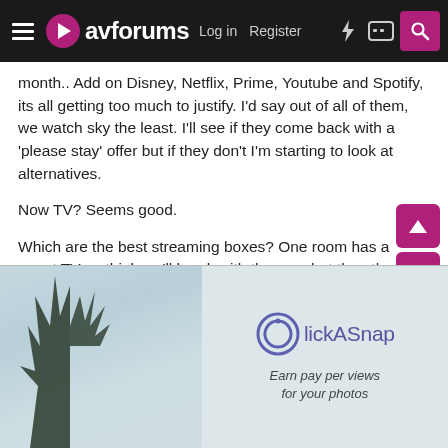avforums — Log in | Register
month.. Add on Disney, Netflix, Prime, Youtube and Spotify, its all getting too much to justify. I'd say out of all of them, we watch sky the least. I'll see if they come back with a 'please stay' offer but if they don't I'm starting to look at alternatives.

Now TV? Seems good.

Which are the best streaming boxes? One room has a smart TV so think we'll be ok with the app, but the other room has an AVR so will need some sort of firestick / smart box. Any recommendations? I don't mind spending money on a good box, ideally 5.1 / atmos etc if possible, especially if I won't be paying £118 a month! 🙂
[Figure (other): ClickASnap advertisement banner with sky/tree background photo. Logo and tagline: Earn pay per views for your photos]